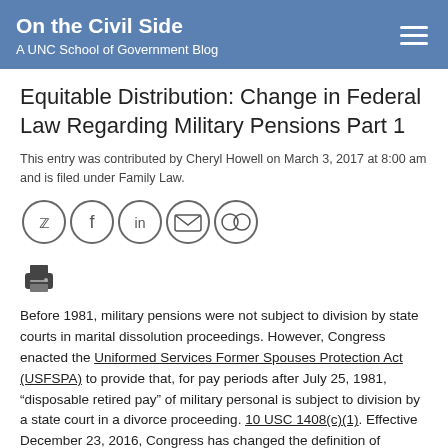On the Civil Side
A UNC School of Government Blog
Equitable Distribution: Change in Federal Law Regarding Military Pensions Part 1
This entry was contributed by Cheryl Howell on March 3, 2017 at 8:00 am and is filed under Family Law.
[Figure (other): Social media sharing icons: Twitter, Facebook, LinkedIn, Email, and a double-circle icon]
[Figure (other): Print icon]
Before 1981, military pensions were not subject to division by state courts in marital dissolution proceedings. However, Congress enacted the Uniformed Services Former Spouses Protection Act (USFSPA) to provide that, for pay periods after July 25, 1981, “disposable retired pay” of military personal is subject to division by a state court in a divorce proceeding. 10 USC 1408(c)(1). Effective December 23, 2016, Congress has changed the definition of “disposable retired pay” as it relates to property distribution upon divorce in a way that has left